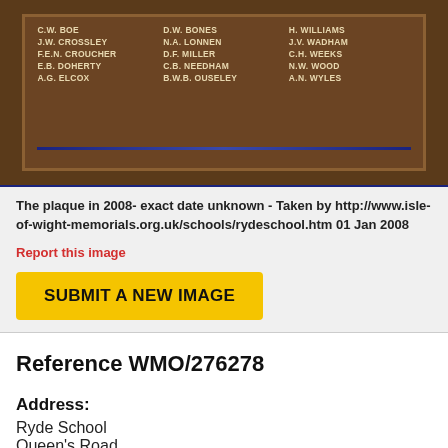[Figure (photo): A bronze memorial plaque showing names of individuals arranged in three columns. Visible names include J.W. Crossley, F.E.N. Croucher, E.B. Doherty, A.G. Elcox, N.A. Lonnen, D.F. Miller, C.B. Needham, B.W.B. Ouseley, J.V. Wadham, C.H. Weeks, N.W. Wood, A.N. Wyles. A blue decorative line runs along the bottom of the plaque.]
The plaque in 2008- exact date unknown - Taken by http://www.isle-of-wight-memorials.org.uk/schools/rydeschool.htm 01 Jan 2008
Report this image
SUBMIT A NEW IMAGE
Reference WMO/276278
Address:
Ryde School
Queen's Road